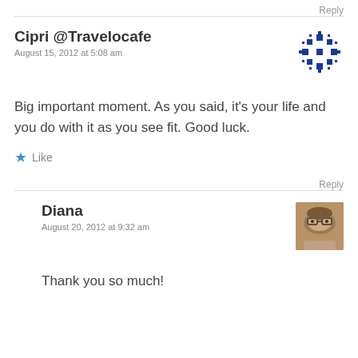Reply
Cipri @Travelocafe
August 15, 2012 at 5:08 am
[Figure (illustration): Blue geometric snowflake/mandala pattern avatar icon]
Big important moment. As you said, it’s your life and you do with it as you see fit. Good luck.
Like
Reply
Diana
August 20, 2012 at 9:32 am
[Figure (photo): Woman with glasses, photo avatar]
Thank you so much!